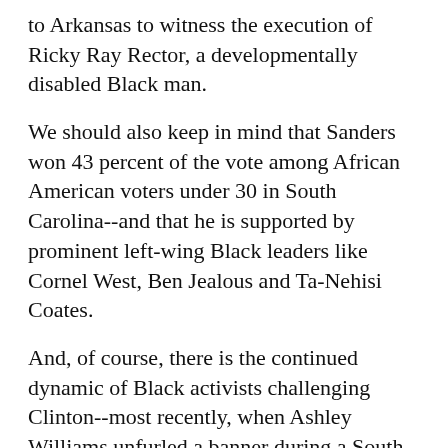to Arkansas to witness the execution of Ricky Ray Rector, a developmentally disabled Black man.
We should also keep in mind that Sanders won 43 percent of the vote among African American voters under 30 in South Carolina--and that he is supported by prominent left-wing Black leaders like Cornel West, Ben Jealous and Ta-Nehisi Coates.
And, of course, there is the continued dynamic of Black activists challenging Clinton--most recently, when Ashley Williams unfurled a banner during a South Carolina fundraiser that brought national attention to an infamous 1996 speech in favor of her husband's crime bill, in which Clinton talked about "super-predators" who have to be "brought to heel."
Sanders hasn't helped his cause by failing to make the fight against racism a central campaign theme the way he talks about taking on Wall Street. That's a point that Coates noted when contrasting Sanders' claim that it was "unrealistic" and "divisive" to fight for